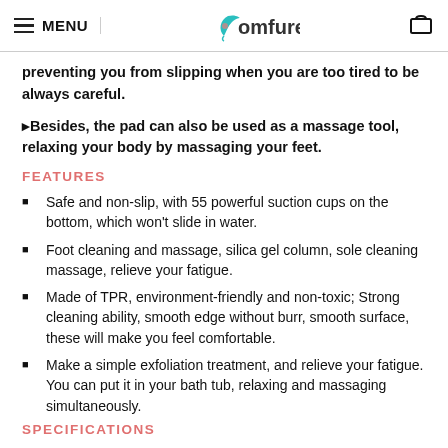MENU | Comfures | [cart]
preventing you from slipping when you are too tired to be always careful.
🔶Besides, the pad can also be used as a massage tool, relaxing your body by massaging your feet.
FEATURES
Safe and non-slip, with 55 powerful suction cups on the bottom, which won't slide in water.
Foot cleaning and massage, silica gel column, sole cleaning massage, relieve your fatigue.
Made of TPR, environment-friendly and non-toxic; Strong cleaning ability, smooth edge without burr, smooth surface, these will make you feel comfortable.
Make a simple exfoliation treatment, and relieve your fatigue. You can put it in your bath tub, relaxing and massaging simultaneously.
SPECIFICATIONS